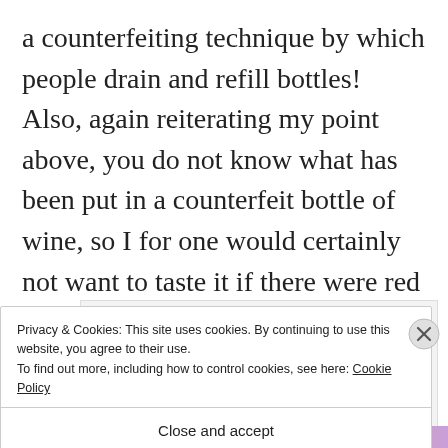a counterfeiting technique by which people drain and refill bottles! Also, again reiterating my point above, you do not know what has been put in a counterfeit bottle of wine, so I for one would certainly not want to taste it if there were red flags to its authenticity.
[Figure (screenshot): Partial UI banner showing bold text 'And free.' and a row of circular avatar/profile images including a blue icon with a plus symbol, on a light gray background.]
Privacy & Cookies: This site uses cookies. By continuing to use this website, you agree to their use.
To find out more, including how to control cookies, see here: Cookie Policy
Close and accept